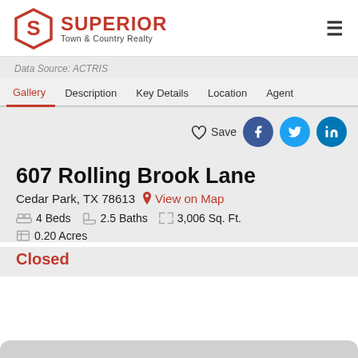[Figure (logo): Superior Town & Country Realty logo with red hexagon S icon and company name]
Data Source: ACTRIS
Gallery  Description  Key Details  Location  Agent
Save
607 Rolling Brook Lane
Cedar Park, TX 78613   View on Map
4 Beds   2.5 Baths   3,006 Sq. Ft.   0.20 Acres
Closed